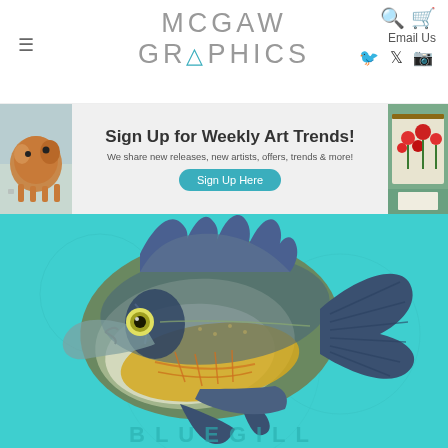MCGAW GRAPHICS — navigation header with hamburger menu, search, cart, Email Us, social icons
[Figure (infographic): Banner advertisement: Sign Up for Weekly Art Trends! We share new releases, new artists, offers, trends & more! Sign Up Here button. Flanked by two art images.]
[Figure (photo): Artwork of a bluegill fish on a teal/turquoise background. The fish is rendered in a folk-art style with blue-green dorsal area, yellow belly, and blue fins. Text 'BLUEGILL' partially visible at bottom.]